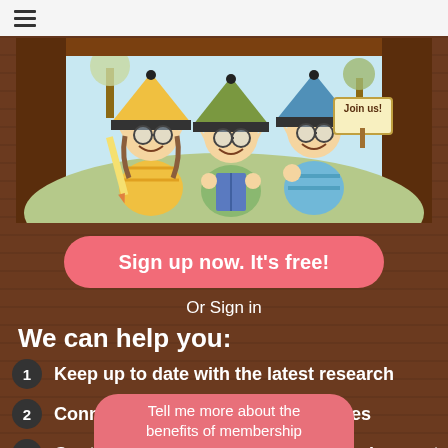[Figure (illustration): Three cartoon elf characters in a wooden booth/window. Left elf wears a yellow hat and holds a pencil, center elf wears a green hat and holds a book, right elf wears a blue hat and holds a 'Join us!' sign. Background shows trees and sky.]
Sign up now. It's free!
Or Sign in
We can help you:
Keep up to date with the latest research
Connect with experts and colleagues
Contribute to your professional development
Tell me more about the benefits of membership